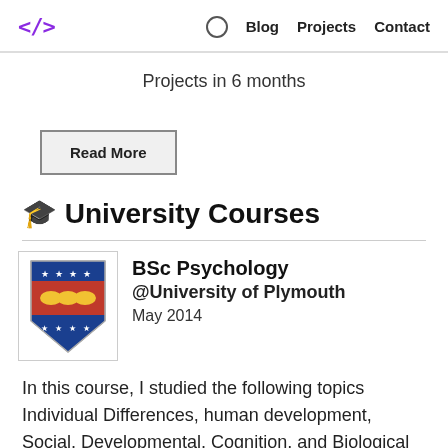</> Blog Projects Contact
Projects in 6 months
Read More
🎓 University Courses
[Figure (logo): University of Plymouth coat of arms shield logo — blue, red, yellow shield with stars and wavy patterns]
BSc Psychology @University of Plymouth May 2014
In this course, I studied the following topics Individual Differences, human development, Social, Developmental, Cognition, and Biological Psychology